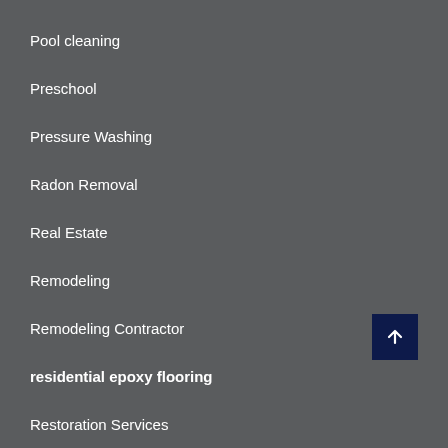Pool cleaning
Preschool
Pressure Washing
Radon Removal
Real Estate
Remodeling
Remodeling Contractor
residential epoxy flooring
Restoration Services